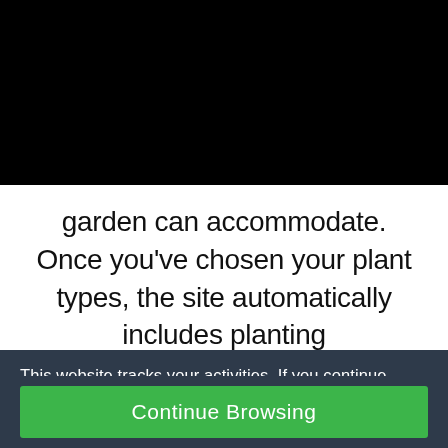[Figure (screenshot): Black rectangle occupying the top portion of the page, representing a darkened/blacked-out image or video area]
garden can accommodate. Once you've chosen your plant types, the site automatically includes planting
This website tracks your activities. If you continue browsing the site, you're giving us consent to track your activity.
Continue Browsing